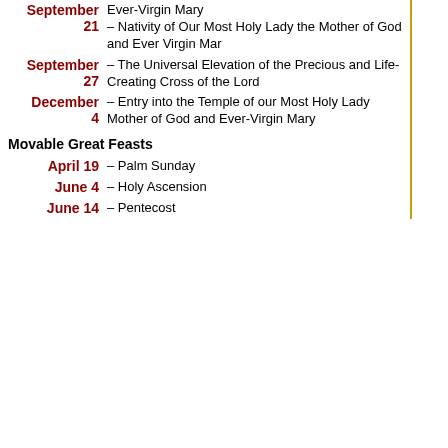| Date | Feast |
| --- | --- |
| September 21 | – Nativity of Our Most Holy Lady the Mother of God and Ever Virgin Mar |
| September 27 | – The Universal Elevation of the Precious and Life-Creating Cross of the Lord |
| December 4 | – Entry into the Temple of our Most Holy Lady Mother of God and Ever-Virgin Mary |
Movable Great Feasts
| Date | Feast |
| --- | --- |
| April 19 | – Palm Sunday |
| June 4 | – Holy Ascension |
| June 14 | – Pentecost |